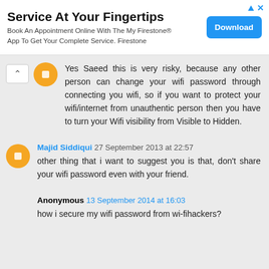[Figure (screenshot): Advertisement banner for Firestone app with title 'Service At Your Fingertips', subtitle text, and a blue Download button]
Yes Saeed this is very risky, because any other person can change your wifi password through connecting you wifi, so if you want to protect your wifi/internet from unauthentic person then you have to turn your Wifi visibility from Visible to Hidden.
Majid Siddiqui 27 September 2013 at 22:57
other thing that i want to suggest you is that, don't share your wifi password even with your friend.
Anonymous 13 September 2014 at 16:03
how i secure my wifi password from wi-fihackers?